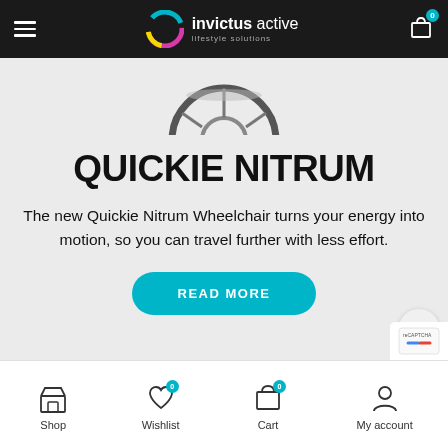[Figure (screenshot): Invictus Active lifestyle solutions website header with logo, hamburger menu, and cart icon on black background]
[Figure (photo): Partial image of a Quickie Nitrum wheelchair wheel visible at top of hero section]
QUICKIE NITRUM
The new Quickie Nitrum Wheelchair turns your energy into motion, so you can travel further with less effort.
[Figure (other): READ MORE teal rounded button]
[Figure (other): Bottom navigation bar with Shop, Wishlist (0), Cart (0), and My account icons]